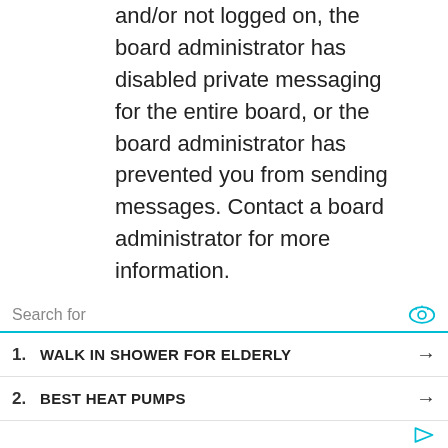and/or not logged on, the board administrator has disabled private messaging for the entire board, or the board administrator has prevented you from sending messages. Contact a board administrator for more information.
Top
I keep getting unwanted private messages!
You can block a user from
Search for
1. WALK IN SHOWER FOR ELDERLY
2. BEST HEAT PUMPS